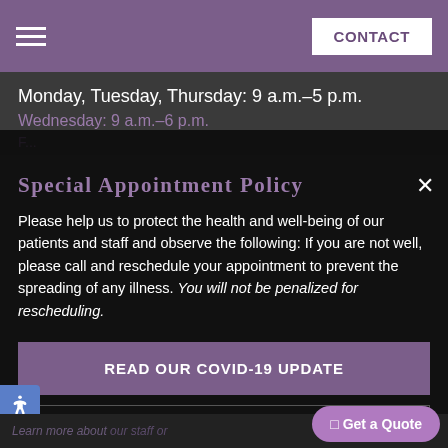CONTACT
Monday, Tuesday, Thursday: 9 a.m.–5 p.m.
Wednesday: 9 a.m.–6 p.m.
Special Appointment Policy
Please help us to protect the health and well-being of our patients and staff and observe the following: If you are not well, please call and reschedule your appointment to prevent the spreading of any illness. You will not be penalized for rescheduling.
READ OUR COVID-19 UPDATE
REQUEST A CONSULTATION
Learn more about...
Get a Quote